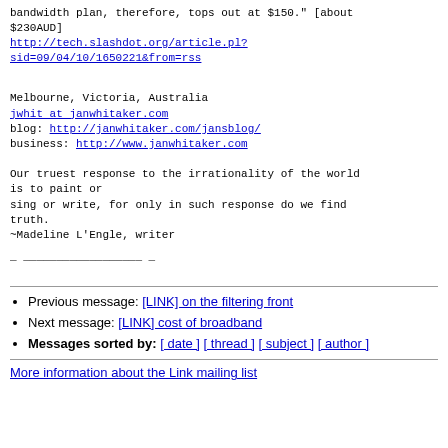bandwidth plan, therefore, tops out at $150." [about $230AUD]
http://tech.slashdot.org/article.pl?sid=09/04/10/1650221&from=rss
Melbourne, Victoria, Australia
jwhit at janwhitaker.com
blog: http://janwhitaker.com/jansblog/
business: http://www.janwhitaker.com

Our truest response to the irrationality of the world is to paint or
sing or write, for only in such response do we find truth.
~Madeline L'Engle, writer
_ __________________ _
Previous message: [LINK] on the filtering front
Next message: [LINK] cost of broadband
Messages sorted by: [ date ] [ thread ] [ subject ] [ author ]
More information about the Link mailing list